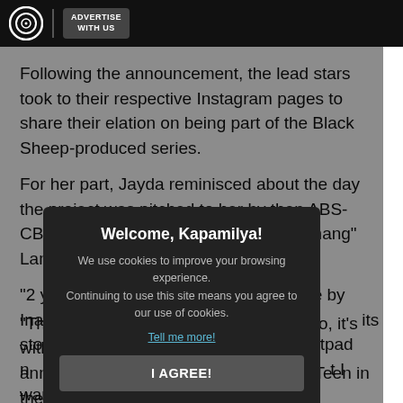ADVERTISE WITH US
Following the announcement, the lead stars took to their respective Instagram pages to share their elation on being part of the Black Sheep-produced series.
For her part, Jayda reminisced about the day the project was pitched to her by then ABS-CBN Films Managing Director, Olivia "Inang" Lamasan.
"2 years ago ... pitched to me by Ina... N Films, I took the d... its story, which was ... ngtime Wattpad n... heart, I was hooke... t I wanted to be a pa...
[Figure (screenshot): Cookie consent modal dialog with title 'Welcome, Kapamilya!', body text about cookies, 'Tell me more!' link, and 'I AGREE!' button]
"That project was called 'Teen Clash'. So, it's with much happiness that I get to finally announce that I'm taking on the role of Teen in the series.